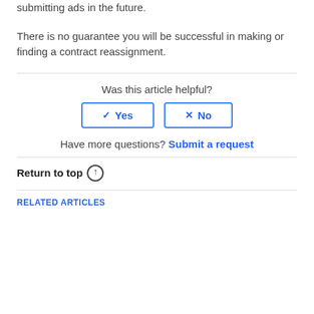submitting ads in the future. There is no guarantee you will be successful in making or finding a contract reassignment.
Was this article helpful?
Yes
No
Have more questions? Submit a request
Return to top ↑
RELATED ARTICLES